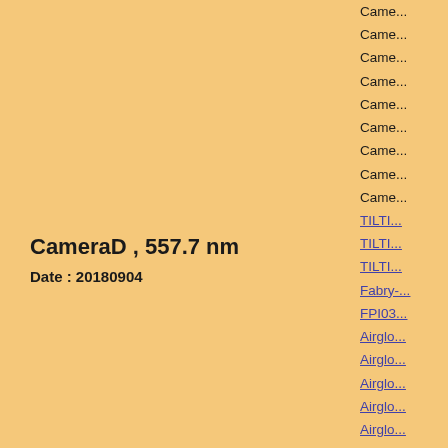CameraD , 557.7 nm
Date : 20180904
Click figure to enlarge
Came...
Came...
Came...
Came...
Came...
Came...
Came...
Came...
Came...
TILTI...
TILTI...
TILTI...
Fabry-...
FPI03...
Airglo...
Airglo...
Airglo...
Airglo...
Airglo...
Airglo...
3-ch p...
3-ch p...